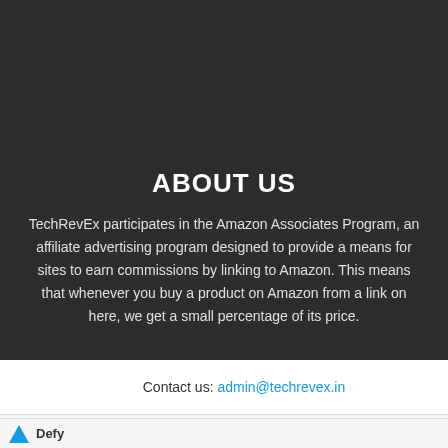ABOUT US
TechRevEx participates in the Amazon Associates Program, an affiliate advertising program designed to provide a means for sites to earn commissions by linking to Amazon. This means that whenever you buy a product on Amazon from a link on here, we get a small percentage of its price.
Contact us: admin@techrevex.in
[Figure (infographic): Advertisement banner for Smart Robot Platform Supply with robot images on left and an Open button on right, with Defy branding at bottom]